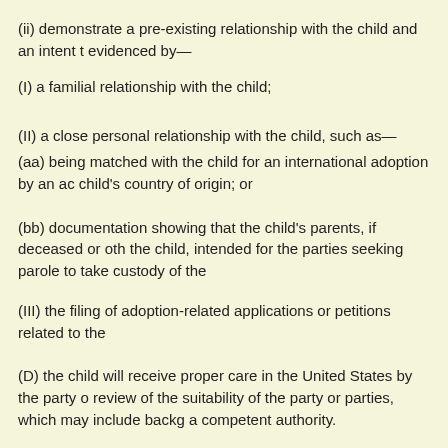(ii) demonstrate a pre-existing relationship with the child and an intent t evidenced by—
(I) a familial relationship with the child;
(II) a close personal relationship with the child, such as—
(aa) being matched with the child for an international adoption by an ac child's country of origin; or
(bb) documentation showing that the child's parents, if deceased or oth the child, intended for the parties seeking parole to take custody of the
(III) the filing of adoption-related applications or petitions related to the
(D) the child will receive proper care in the United States by the party o review of the suitability of the party or parties, which may include backg a competent authority.